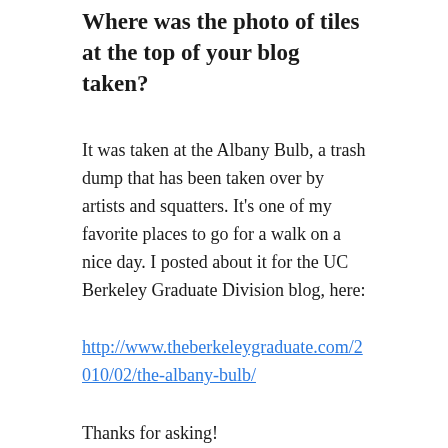Where was the photo of tiles at the top of your blog taken?
It was taken at the Albany Bulb, a trash dump that has been taken over by artists and squatters. It's one of my favorite places to go for a walk on a nice day. I posted about it for the UC Berkeley Graduate Division blog, here:
http://www.theberkeleygraduate.com/2010/02/the-albany-bulb/
Thanks for asking!
What's the most delicious meal you've ever had?